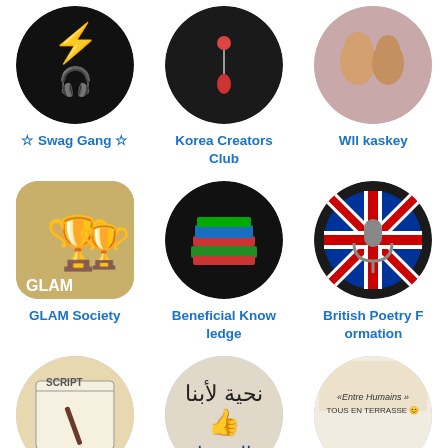[Figure (illustration): Circular avatar with colorful neon graffiti art character]
☆ Swag Gang ☆
[Figure (illustration): Dark circular avatar with a red balloon on black background]
Korea Creators Club
[Figure (photo): Circular photo of two people close together]
Wll kaskey
[Figure (illustration): Rounded square avatar showing golden trophies - GLAM text]
GLAM Society
[Figure (illustration): Dark circular avatar with stacked colorful books]
Beneficial Knowledge
[Figure (illustration): Circular avatar with UK flag and microphone]
British Poetry Formation
[Figure (photo): Circular avatar showing a notepad with SCRIPT text and a pen]
TV/Film Development
[Figure (illustration): Circular avatar with Arabic text and thumbs up graphic]
عشان بنحبك يا سودان
[Figure (illustration): Circular avatar with Entre Humains le CLUB text and books]
Entre Humains : le CLUB
[Figure (illustration): Partial circular avatar showing yellow emoji face with glasses]
[Figure (illustration): Partial teal circular avatar with microphone icon]
[Figure (illustration): Partial purple circular avatar with calendar icon]